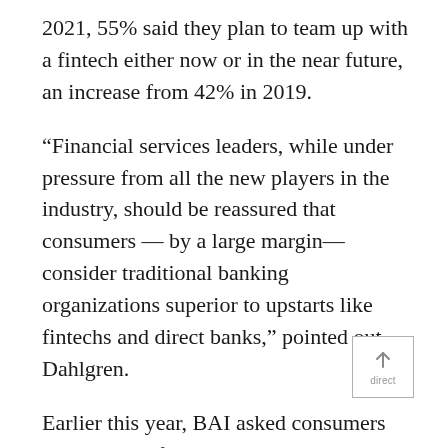2021, 55% said they plan to team up with a fintech either now or in the near future, an increase from 42% in 2019.
“Financial services leaders, while under pressure from all the new players in the industry, should be reassured that consumers — by a large margin—consider traditional banking organizations superior to upstarts like fintechs and direct banks,” pointed out Dahlgren.
Earlier this year, BAI asked consumers which kind of organization had the best safety and security. Sixty-two percent said traditional organizations versus only 9% for fintechs and 26% for direct banks or those with no branches. When